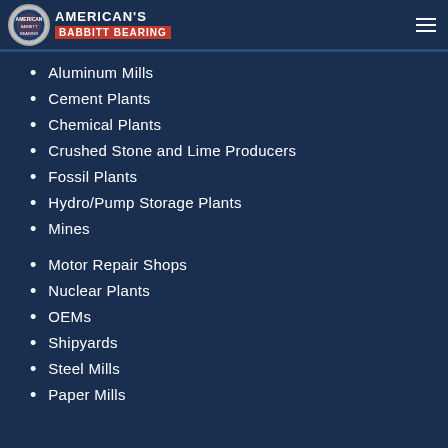American Babbitt Bearing
Aluminum Mills
Cement Plants
Chemical Plants
Crushed Stone and Lime Producers
Fossil Plants
Hydro/Pump Storage Plants
Mines
Motor Repair Shops
Nuclear Plants
OEMs
Shipyards
Steel Mills
Paper Mills